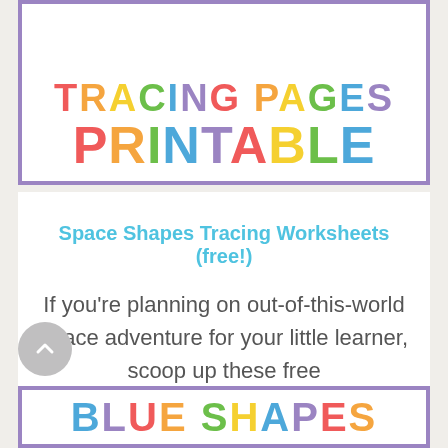TRACING PAGES PRINTABLE
Space Shapes Tracing Worksheets (free!)
If you're planning on out-of-this-world space adventure for your little learner, scoop up these free
Read More ›
BLUE SHAPES